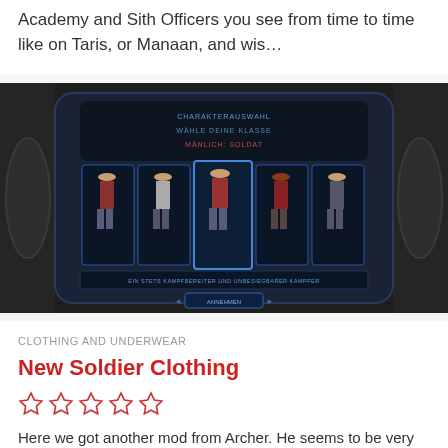Academy and Sith Officers you see from time to time like on Taris, or Manaan, and wis…
[Figure (screenshot): Screenshot of a Star Wars: Knights of the Old Republic character creation or customization screen showing multiple character model variants in a sci-fi interface with German text labels]
CLOTHING AND UNDERWEAR
New Soldier Clothing
★★★★★ (5 empty star rating)
Here we got another mod from Archer. He seems to be very busy lately with doing mods for KOTOR, which is good for those who want to see new…